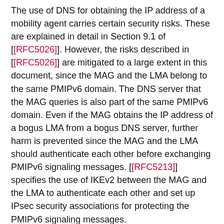The use of DNS for obtaining the IP address of a mobility agent carries certain security risks. These are explained in detail in Section 9.1 of [RFC5026]. However, the risks described in [RFC5026] are mitigated to a large extent in this document, since the MAG and the LMA belong to the same PMIPv6 domain. The DNS server that the MAG queries is also part of the same PMIPv6 domain. Even if the MAG obtains the IP address of a bogus LMA from a bogus DNS server, further harm is prevented since the MAG and the LMA should authenticate each other before exchanging PMIPv6 signaling messages. [RFC5213] specifies the use of IKEv2 between the MAG and the LMA to authenticate each other and set up IPsec security associations for protecting the PMIPv6 signaling messages.
The AAA infrastructure may be used to transport the LMA-discovery- related information between the MAG and the AAA server via one or more AAA brokers and/or AAA proxies. In this case, the MAG-to-AAA- server communication relies on the security properties of the intermediate AAA brokers and AAA proxies.